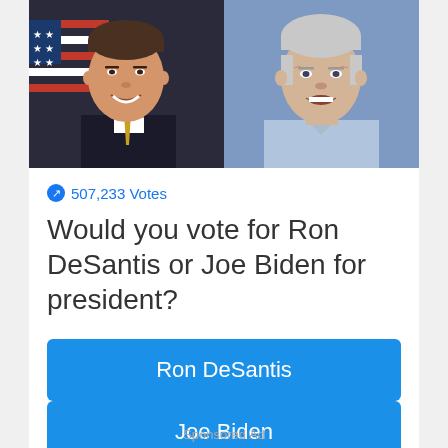[Figure (photo): Two photos side by side: left shows Ron DeSantis (man with dark hair, suit, American flag background), right shows Joe Biden (older man with white hair, blue background)]
507,233 Votes
Would you vote for Ron DeSantis or Joe Biden for president?
Ron DeSantis
Joe Biden
Sponsored Ad